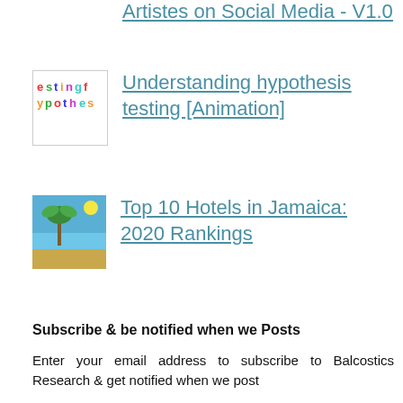Artistes on Social Media - V1.0
Understanding hypothesis testing [Animation]
Top 10 Hotels in Jamaica: 2020 Rankings
Subscribe & be notified when we Posts
Enter your email address to subscribe to Balcostics Research & get notified when we post
Enter your email address
Subscribe